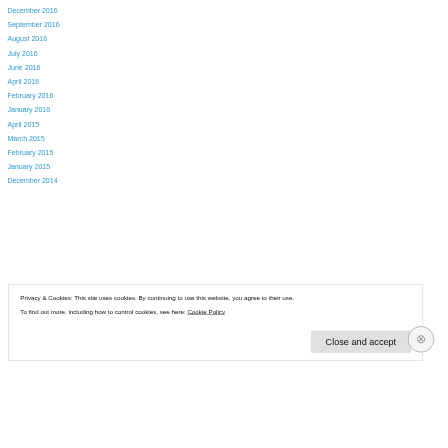December 2016
September 2016
August 2016
July 2016
June 2016
April 2016
February 2016
January 2016
April 2015
March 2015
February 2015
January 2015
December 2014
Privacy & Cookies: This site uses cookies. By continuing to use this website, you agree to their use.
To find out more, including how to control cookies, see here: Cookie Policy